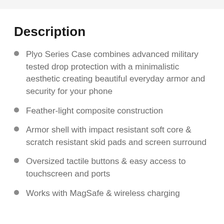Description
Plyo Series Case combines advanced military tested drop protection with a minimalistic aesthetic creating beautiful everyday armor and security for your phone
Feather-light composite construction
Armor shell with impact resistant soft core & scratch resistant skid pads and screen surround
Oversized tactile buttons & easy access to touchscreen and ports
Works with MagSafe & wireless charging